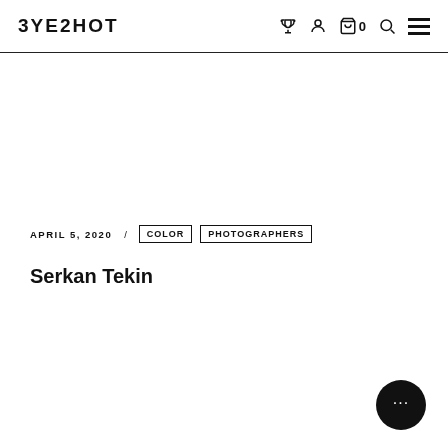EYESHOT
APRIL 5, 2020 / COLOR PHOTOGRAPHERS
Serkan Tekin